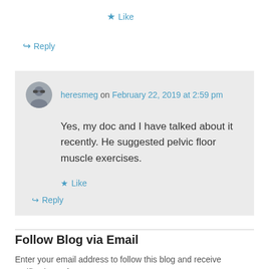★ Like
↳ Reply
heresmeg on February 22, 2019 at 2:59 pm
Yes, my doc and I have talked about it recently. He suggested pelvic floor muscle exercises.
★ Like
↳ Reply
Follow Blog via Email
Enter your email address to follow this blog and receive notifications of